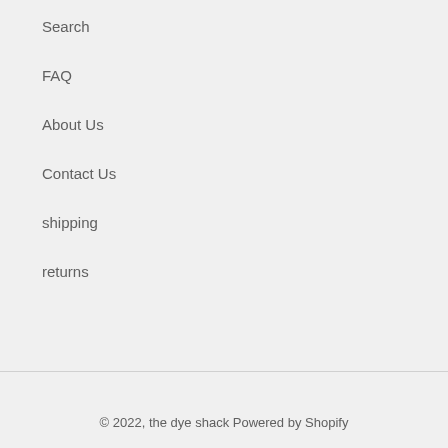Search
FAQ
About Us
Contact Us
shipping
returns
© 2022, the dye shack Powered by Shopify